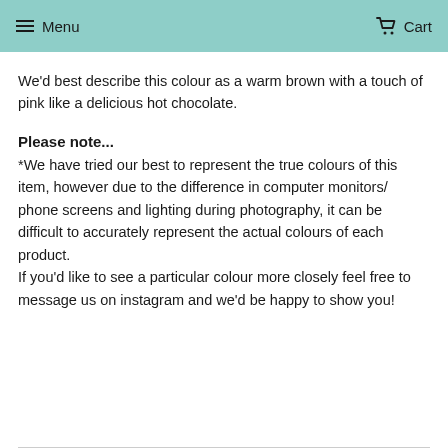Menu   Cart
We'd best describe this colour as a warm brown with a touch of pink like a delicious hot chocolate.
Please note...
*We have tried our best to represent the true colours of this item, however due to the difference in computer monitors/ phone screens and lighting during photography, it can be difficult to accurately represent the actual colours of each product.
If you'd like to see a particular colour more closely feel free to message us on instagram and we'd be happy to show you!